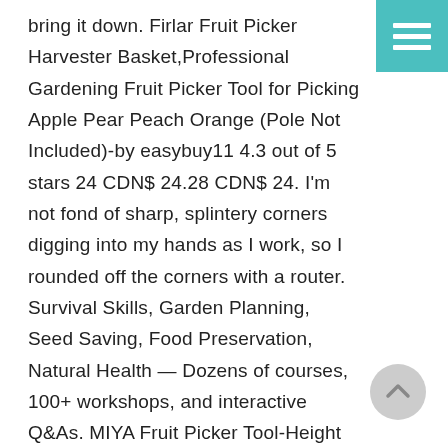bring it down. Firlar Fruit Picker Harvester Basket,Professional Gardening Fruit Picker Tool for Picking Apple Pear Peach Orange (Pole Not Included)-by easybuy11 4.3 out of 5 stars 24 CDN$ 24.28 CDN$ 24. I'm not fond of sharp, splintery corners digging into my hands as I work, so I rounded off the corners with a router. Survival Skills, Garden Planning, Seed Saving, Food Preservation, Natural Health — Dozens of courses, 100+ workshops, and interactive Q&As. MIYA Fruit Picker Tool-Height Adjustable Fruit Picker with Big Basket - 8 ft Apple Orange Pear Picker with Light-Weight Stainless Steel Pole and Extra Fruit Carrying Bag for Getting Fruits(8 FT) 4.6 out of 5 stars 587. Just add a bag (I used gauze from insect protection for window) and a handle (I used a